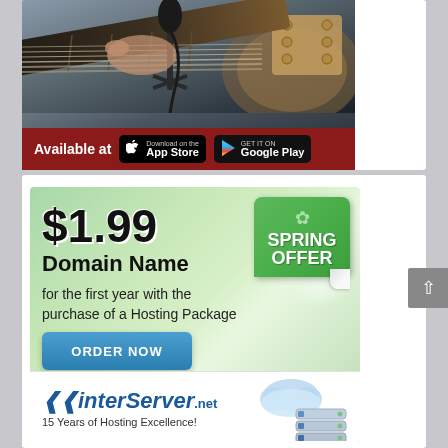[Figure (photo): Photo of person playing guitar with a microphone on a tripod, with a dark red banner at bottom reading 'Available at' with App Store and Google Play download buttons]
[Figure (infographic): InterServer web hosting advertisement. Shows '$1.99 Domain Name' with 'Spring Offer' green sticker badge, text 'for the first year with the purchase of a Hosting Package', a blue 'ORDER NOW' button, and InterServer.net logo with '15 Years of Hosting Excellence!' tagline and server/cloud illustration.]